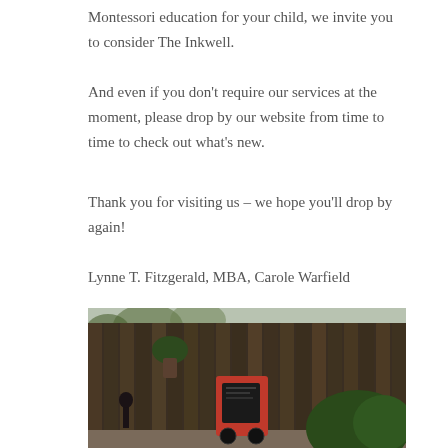Montessori education for your child, we invite you to consider The Inkwell.
And even if you don't require our services at the moment, please drop by our website from time to time to check out what's new.
Thank you for visiting us – we hope you'll drop by again!
Lynne T. Fitzgerald, MBA, Carole Warfield
[Figure (photo): Outdoor photo of a dark wooden fence with a red toy vehicle with a chalkboard, green plants, and a gravel/paved ground area.]